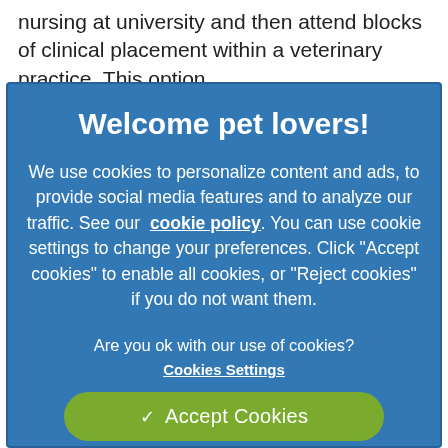nursing at university and then attend blocks of clinical placement within a veterinary practice. This option
Welcome pet lovers!
We use cookies to personalize content and ads, to provide social media features and to analyze our traffic. See our cookie policy. You can use cookie settings to change your preferences. Click "Accept cookies" to enable all cookies, or "Reject cookies" if you do not want them.
Are you ok with our use of cookies?
Cookies Settings
✓  Accept Cookies
×  Reject Cookies